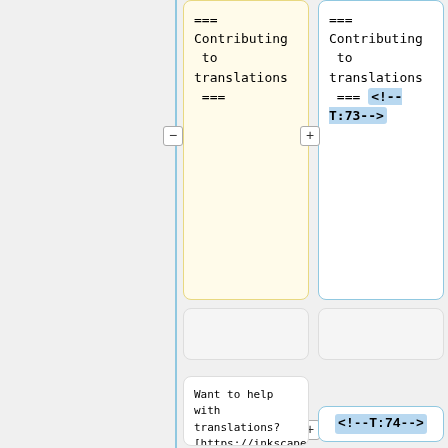[Figure (screenshot): A diff/translation tool UI showing two side-by-side text cards. Left card (yellow background) contains wiki markup: '=== Contributing to translations ==='. Right card (blue outline) contains the same text with an appended blue-highlighted comment '<!--T:73-->'. Below are empty grey cards, then a right-side card with '<!--T:74-->' highlighted in blue, and at the bottom two cards both containing 'Want to help with translations? [https://inkscape.org/contribute/translations/ Learn how to help!]'. Plus and minus buttons appear between the columns.]